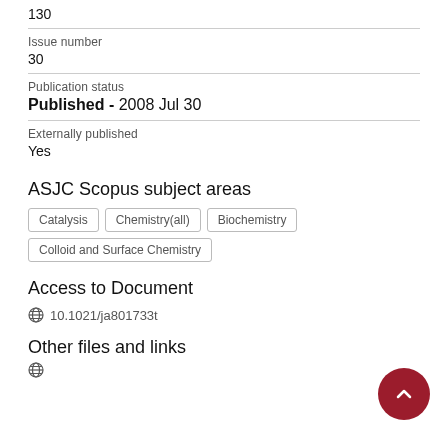130
Issue number
30
Publication status
Published - 2008 Jul 30
Externally published
Yes
ASJC Scopus subject areas
Catalysis
Chemistry(all)
Biochemistry
Colloid and Surface Chemistry
Access to Document
10.1021/ja801733t
Other files and links